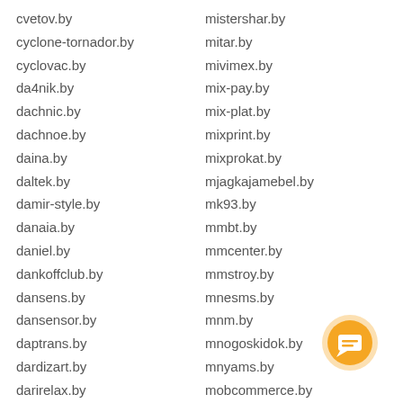cvetov.by
cyclone-tornador.by
cyclovac.by
da4nik.by
dachnic.by
dachnoe.by
daina.by
daltek.by
damir-style.by
danaia.by
daniel.by
dankoffclub.by
dansens.by
dansensor.by
daptrans.by
dardizart.by
darirelax.by
darissimo.by
darkness.by
darmebel.by
darudar.by
dasaqua.by
mistershar.by
mitar.by
mivimex.by
mix-pay.by
mix-plat.by
mixprint.by
mixprokat.by
mjagkajamebel.by
mk93.by
mmbt.by
mmcenter.by
mmstroy.by
mnesms.by
mnm.by
mnogoskidok.by
mnyams.by
mobcommerce.by
mob-commerce.by
mobilcase.by
mobilemandarin.by
mobilenet.by
mobiletool.by
[Figure (illustration): Orange circular chat/message button icon in bottom right corner]